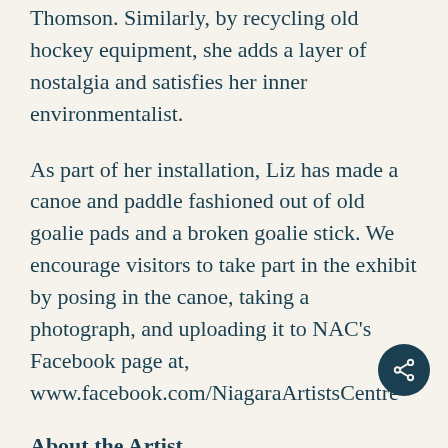Thomson. Similarly, by recycling old hockey equipment, she adds a layer of nostalgia and satisfies her inner environmentalist.
As part of her installation, Liz has made a canoe and paddle fashioned out of old goalie pads and a broken goalie stick. We encourage visitors to take part in the exhibit by posing in the canoe, taking a photograph, and uploading it to NAC's Facebook page at, www.facebook.com/NiagaraArtistsCentre
About the Artist
Liz Read graduated in 2007 from